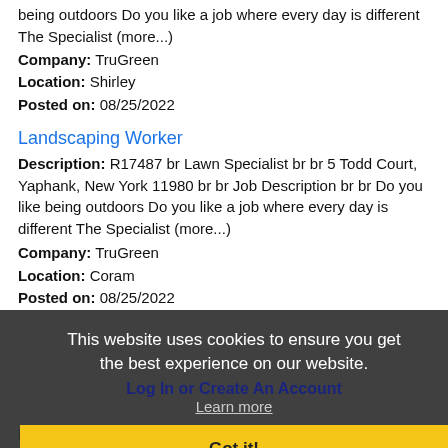being outdoors Do you like a job where every day is different The Specialist (more...)
Company: TruGreen
Location: Shirley
Posted on: 08/25/2022
Landscaping Worker
Description: R17487 br Lawn Specialist br br 5 Todd Court, Yaphank, New York 11980 br br Job Description br br Do you like being outdoors Do you like a job where every day is different The Specialist (more...)
Company: TruGreen
Location: Coram
Posted on: 08/25/2022
This website uses cookies to ensure you get the best experience on our website.
Log In or Create An Account
Learn more
Got it!
Username:
Password: